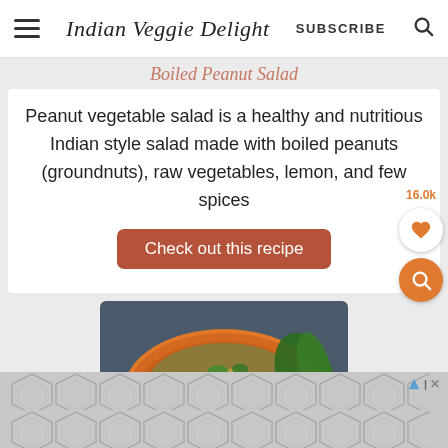Indian Veggie Delight | SUBSCRIBE
Boiled Peanut Salad
Peanut vegetable salad is a healthy and nutritious Indian style salad made with boiled peanuts (groundnuts), raw vegetables, lemon, and few spices
Check out this recipe
[Figure (photo): Top-down photo of a boiled peanut salad in an orange bowl with vegetables and greens]
[Figure (other): Advertisement banner with hexagonal geometric pattern]